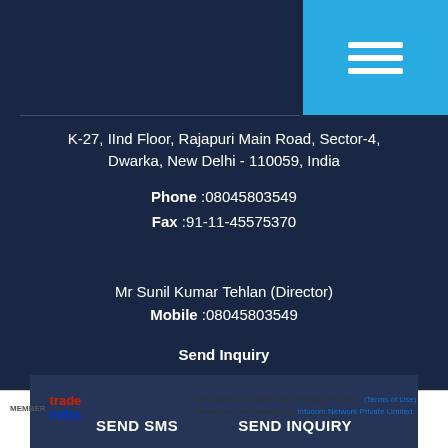[Figure (screenshot): Mobile navigation hamburger menu button in blue (#29abe2) with three white horizontal bars]
K-27, IInd Floor, Rajapuri Main Road, Sector-4, Dwarka, New Delhi - 110059, India
Phone :08045803549
Fax :91-11-45575370
Mr Sunil Kumar Tehlan (Director)
Mobile :08045803549
Send Inquiry
SEND SMS   SEND INQUIRY
ADVANCE AUTOMATION All Rights Reserved. (Terms of Use) Developed and Managed by Infocom Network Private Limited.